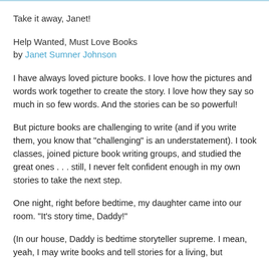Take it away, Janet!
Help Wanted, Must Love Books
by Janet Sumner Johnson
I have always loved picture books. I love how the pictures and words work together to create the story. I love how they say so much in so few words. And the stories can be so powerful!
But picture books are challenging to write (and if you write them, you know that "challenging" is an understatement). I took classes, joined picture book writing groups, and studied the great ones . . . still, I never felt confident enough in my own stories to take the next step.
One night, right before bedtime, my daughter came into our room. "It's story time, Daddy!"
(In our house, Daddy is bedtime storyteller supreme. I mean, yeah, I may write books and tell stories for a living, but